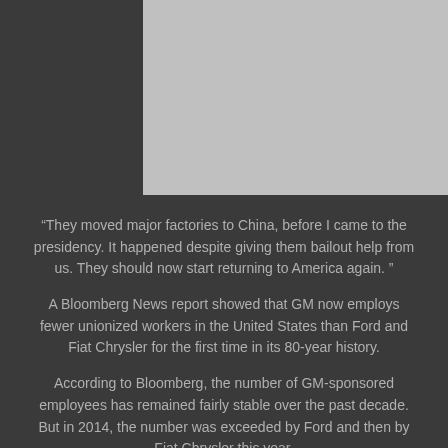[Figure (photo): Gray placeholder image block in upper right area of dark background]
“They moved major factories to China, before I came to the presidency. It happened despite giving them bailout help from us. They should now start returning to America again. ”
A Bloomberg News report showed that GM now employs fewer unionized workers in the United States than Ford and Fiat Chrysler for the first time in its 80-year history.
According to Bloomberg, the number of GM-sponsored employees has remained fairly stable over the past decade. But in 2014, the number was exceeded by Ford and then by Fiat Chrysler this year.
GM has become a frequent target of attack by the president after campaigning to revitalize the US auto industry.